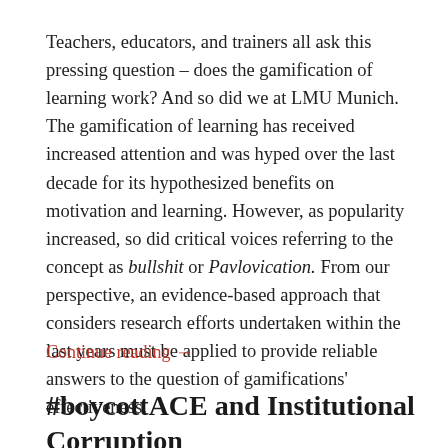Teachers, educators, and trainers all ask this pressing question – does the gamification of learning work? And so did we at LMU Munich. The gamification of learning has received increased attention and was hyped over the last decade for its hypothesized benefits on motivation and learning. However, as popularity increased, so did critical voices referring to the concept as bullshit or Pavlovication. From our perspective, an evidence-based approach that considers research efforts undertaken within the last years must be applied to provide reliable answers to the question of gamifications' effectiveness.
Continue reading →
#boycottACE and Institutional Corruption